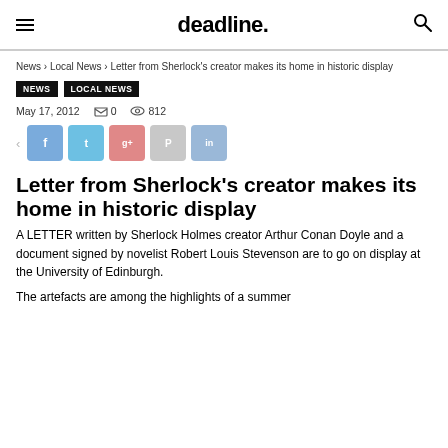deadline.
News › Local News › Letter from Sherlock's creator makes its home in historic display
NEWS  LOCAL NEWS
May 17, 2012  0  812
[Figure (other): Social share buttons: back arrow, Facebook (f), Twitter (t), Google+ (g+), Pinterest, LinkedIn (in)]
Letter from Sherlock's creator makes its home in historic display
A LETTER written by Sherlock Holmes creator Arthur Conan Doyle and a document signed by novelist Robert Louis Stevenson are to go on display at the University of Edinburgh.
The artefacts are among the highlights of a summer